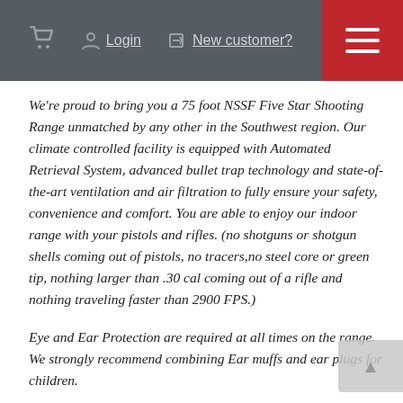🛒  Login  ✎ New customer?  ☰
We're proud to bring you a 75 foot NSSF Five Star Shooting Range unmatched by any other in the Southwest region. Our climate controlled facility is equipped with Automated Retrieval System, advanced bullet trap technology and state-of-the-art ventilation and air filtration to fully ensure your safety, convenience and comfort. You are able to enjoy our indoor range with your pistols and rifles. (no shotguns or shotgun shells coming out of pistols, no tracers,no steel core or green tip, nothing larger than .30 cal coming out of a rifle and nothing traveling faster than 2900 FPS.)
Eye and Ear Protection are required at all times on the range. We strongly recommend combining Ear muffs and ear plugs for children.
Range hour lane passes, $16 one person and $11 additional for a guest on the same lane, up to two adults per lane.